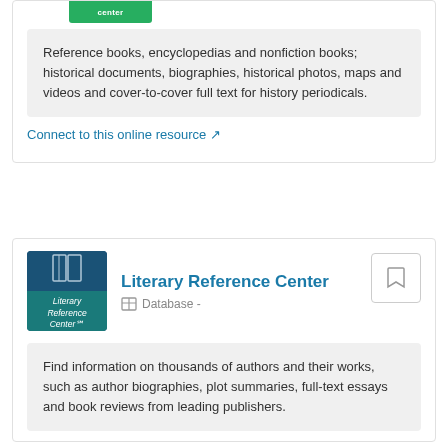Reference books, encyclopedias and nonfiction books; historical documents, biographies, historical photos, maps and videos and cover-to-cover full text for history periodicals.
Connect to this online resource
[Figure (logo): Literary Reference Center logo — dark blue background with book icon and teal label strip]
Literary Reference Center
Database -
Find information on thousands of authors and their works, such as author biographies, plot summaries, full-text essays and book reviews from leading publishers.